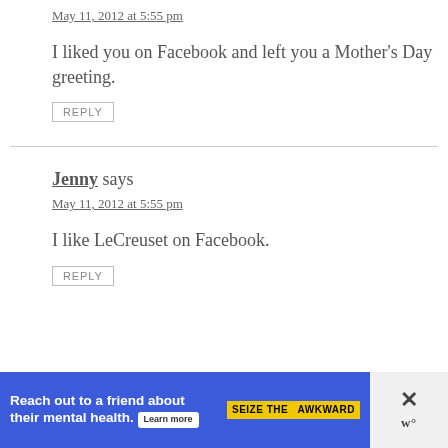May 11, 2012 at 5:55 pm
I liked you on Facebook and left you a Mother's Day greeting.
REPLY
Jenny says
May 11, 2012 at 5:55 pm
I like LeCreuset on Facebook.
REPLY
[Figure (other): Advertisement banner: 'Reach out to a friend about their mental health. Learn more' with 'SEIZE THE AWKWARD' badge and close button]